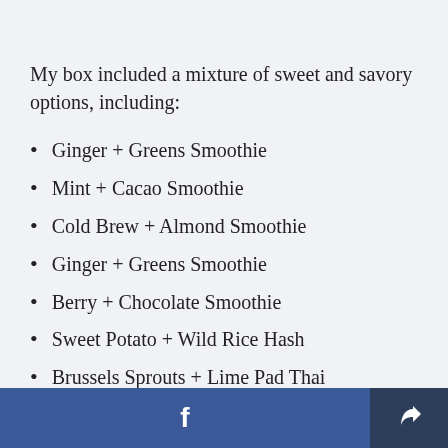My box included a mixture of sweet and savory options, including:
Ginger + Greens Smoothie
Mint + Cacao Smoothie
Cold Brew + Almond Smoothie
Ginger + Greens Smoothie
Berry + Chocolate Smoothie
Sweet Potato + Wild Rice Hash
Brussels Sprouts + Lime Pad Thai
Butternut Squash + Chimichurri
Cauliflower + Lamb S…
f [Facebook share button] [share icon]